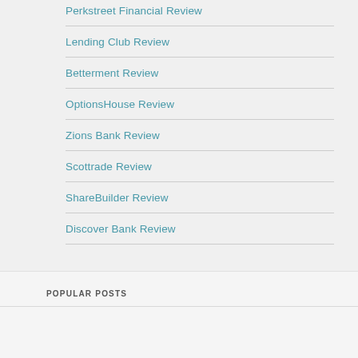Perkstreet Financial Review
Lending Club Review
Betterment Review
OptionsHouse Review
Zions Bank Review
Scottrade Review
ShareBuilder Review
Discover Bank Review
POPULAR POSTS